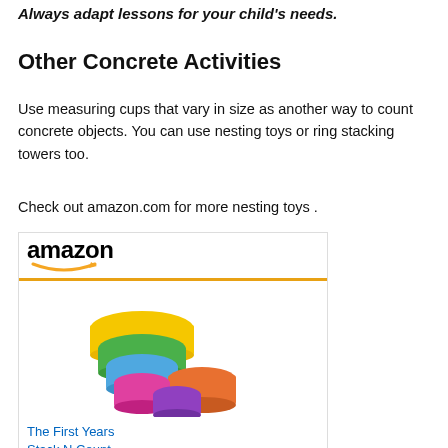Always adapt lessons for your child's needs.
Other Concrete Activities
Use measuring cups that vary in size as another way to count concrete objects. You can use nesting toys or ring stacking towers too.
Check out amazon.com for more nesting toys .
[Figure (screenshot): Amazon product widget showing 'The First Years Stack N Count...' colorful stacking cups product priced at $4.99 with Prime badge and a 'Shop now' button. Features the Amazon logo with orange smile arrow.]